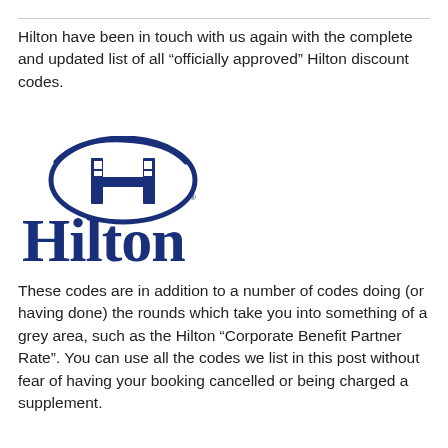Hilton have been in touch with us again with the complete and updated list of all “officially approved” Hilton discount codes.
[Figure (logo): Hilton hotel brand logo: dark navy blue oval with stylized 'H' letter inside, and the word 'Hilton' in large bold dark navy serif font below.]
These codes are in addition to a number of codes doing (or having done) the rounds which take you into something of a grey area, such as the Hilton “Corporate Benefit Partner Rate”. You can use all the codes we list in this post without fear of having your booking cancelled or being charged a supplement.